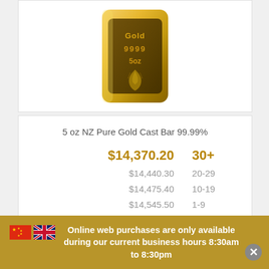[Figure (photo): Gold bar marked 'Gold 9999 5oz' with a silver fern emblem, shown on white background]
5 oz NZ Pure Gold Cast Bar 99.99%
| Price | Quantity |
| --- | --- |
| $14,370.20 | 30+ |
| $14,440.30 | 20-29 |
| $14,475.40 | 10-19 |
| $14,545.50 | 1-9 |
Online web purchases are only available during our current business hours 8:30am to 8:30pm